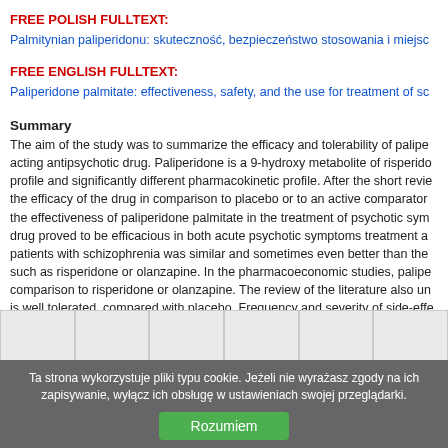FREE POLISH FULLTEXT:
Palmitynian paliperidonu: skuteczność, bezpieczeństwo stosowania i miejsc
FREE ENGLISH FULLTEXT:
Paliperidone palmitate: effectiveness, safety, and the use for treatment of sc
Summary
The aim of the study was to summarize the efficacy and tolerability of palipe acting antipsychotic drug. Paliperidone is a 9-hydroxy metabolite of risperido profile and significantly different pharmacokinetic profile. After the short revie the efficacy of the drug in comparison to placebo or to an active comparator the effectiveness of paliperidone palmitate in the treatment of psychotic sym drug proved to be efficacious in both acute psychotic symptoms treatment a patients with schizophrenia was similar and sometimes even better than the such as risperidone or olanzapine. In the pharmacoeconomic studies, palipe comparison to risperidone or olanzapine. The review of the literature also un is well tolerated, compared with placebo. Frequency and severity of side-effe symptoms, hyperprolactinemia and weight gain, was similar or less than thos atypical antipsychotics, including long-acting ones.
Ta strona wykorzystuje pliki typu cookie. Jeżeli nie wyrażasz zgody na ich zapisywanie, wyłącz ich obsługę w ustawieniach swojej przeglądarki.
Rozumiem